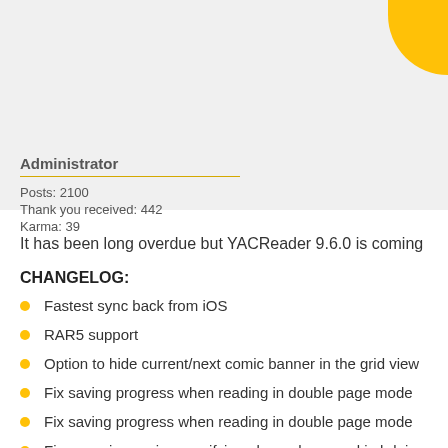Administrator
Posts: 2100
Thank you received: 442
Karma: 39
It has been long overdue but YACReader 9.6.0 is coming
CHANGELOG:
Fastest sync back from iOS
RAR5 support
Option to hide current/next comic banner in the grid view
Fix saving progress when reading in double page mode
Fix saving progress when reading in double page mode
Fix some issues in magnifying glass when used in hdpi screens